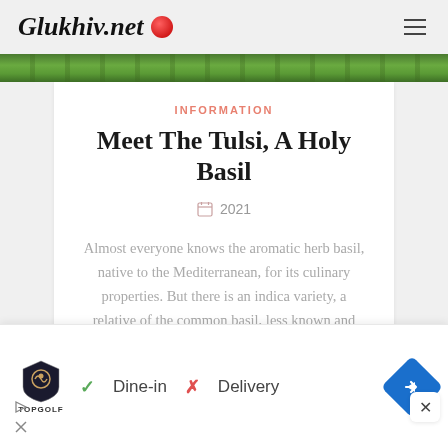Glukhiv.net
[Figure (photo): Green herb/plant foliage photo strip at top of article]
INFORMATION
Meet The Tulsi, A Holy Basil
2021
Almost everyone knows the aromatic herb basil, native to the Mediterranean, for its culinary properties. But there is an indica variety, a relative of the common basil, less known and with medicinal properties that make it very special. It is the holy basil
[Figure (screenshot): Advertisement banner: TopGolf logo, Dine-in checkmark, Delivery X mark, blue navigation diamond arrow]